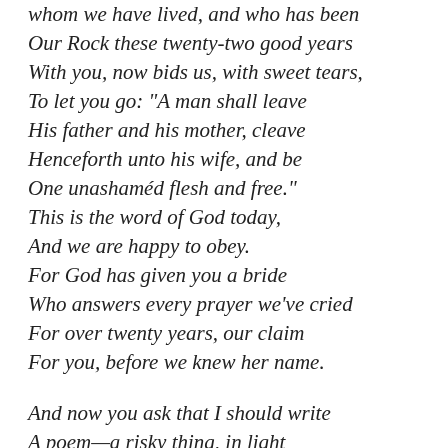whom we have lived, and who has been
Our Rock these twenty-two good years
With you, now bids us, with sweet tears,
To let you go: "A man shall leave
His father and his mother, cleave
Henceforth unto his wife, and be
One unashaméd flesh and free."
This is the word of God today,
And we are happy to obey.
For God has given you a bride
Who answers every prayer we've cried
For over twenty years, our claim
For you, before we knew her name.

And now you ask that I should write
A poem—a risky thing, in light
Of what someone has that I...